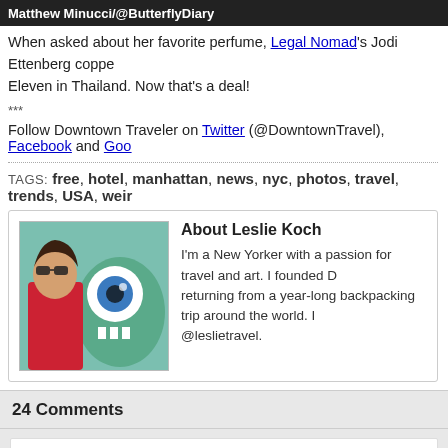[Figure (photo): Dark banner with text 'Matthew Minucci/@ButterflyDiary' in white bold font]
When asked about her favorite perfume, Legal Nomad's Jodi Ettenberg copped… Eleven in Thailand. Now that's a deal!
***
Follow Downtown Traveler on Twitter (@DowntownTravel), Facebook and Goo…
TAGS: free, hotel, manhattan, news, nyc, photos, travel, trends, USA, weir…
About Leslie Koch
I'm a New Yorker with a passion for travel and art. I founded D… returning from a year-long backpacking trip around the world. … @leslietravel.
24 Comments
Nomadic Matt
Posted July 22, 2011 at 2:16 PM
You just made me miss NYC a lot….a real lot.